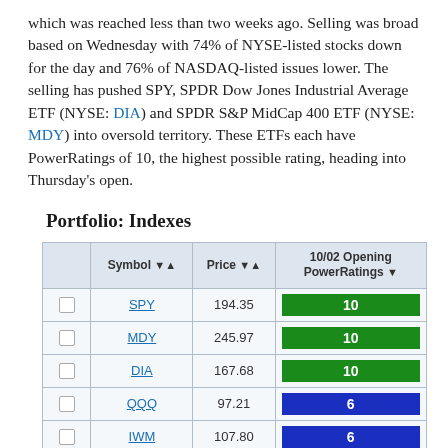which was reached less than two weeks ago. Selling was broad based on Wednesday with 74% of NYSE-listed stocks down for the day and 76% of NASDAQ-listed issues lower. The selling has pushed SPY, SPDR Dow Jones Industrial Average ETF (NYSE: DIA) and SPDR S&P MidCap 400 ETF (NYSE: MDY) into oversold territory. These ETFs each have PowerRatings of 10, the highest possible rating, heading into Thursday's open.
Portfolio: Indexes
|  | Symbol | Price | 10/02 Opening PowerRatings |
| --- | --- | --- | --- |
|  | SPY | 194.35 | 10 |
|  | MDY | 245.97 | 10 |
|  | DIA | 167.68 | 10 |
|  | QQQ | 97.21 | 6 |
|  | IWM | 107.80 | 6 |